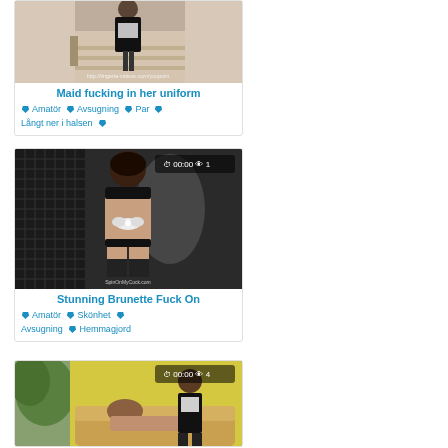[Figure (photo): Video thumbnail showing a maid in uniform on stairs, with watermark http://lingerie-videos.com/youporn]
Maid fucking in her uniform
🏷 Amatör 🏷 Avsugning 🏷 Par 🏷 Långt ner i halsen 🏷
[Figure (photo): Video thumbnail showing a brunette in lingerie, duration 00:00, views 1, watermark SpinOnMyCock.com]
Stunning Brunette Fuck On
🏷 Amatör 🏷 Skönhet 🏷 Avsugning 🏷 Hemmagjord
[Figure (photo): Video thumbnail showing a maid in costume on a couch, duration 00:00, views 4]